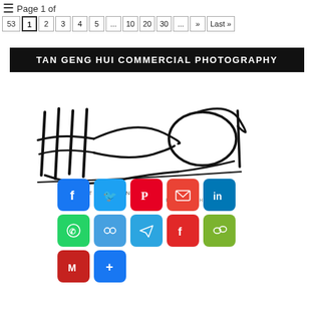Page 1 of 53 — pagination: 1 2 3 4 5 ... 10 20 30 ... » Last »
TAN GENG HUI COMMERCIAL PHOTOGRAPHY
[Figure (logo): Tan Geng Hui Photography signature/logo in black cursive script with text 'TAN GENG HUI PHOTOGRAPHY' below]
[Figure (infographic): Social media share buttons grid: Facebook, Twitter, Pinterest, Email, LinkedIn (row 1); WhatsApp, Copy link, Telegram, Flipboard, WeChat (row 2); Gmail, More (row 3)]